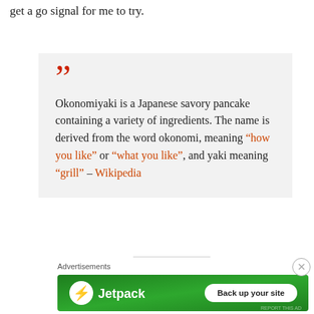get a go signal for me to try.
Okonomiyaki is a Japanese savory pancake containing a variety of ingredients. The name is derived from the word okonomi, meaning “how you like” or “what you like”, and yaki meaning “grill” – Wikipedia
Advertisements
[Figure (other): Jetpack advertisement banner with green background showing Jetpack logo and 'Back up your site' button]